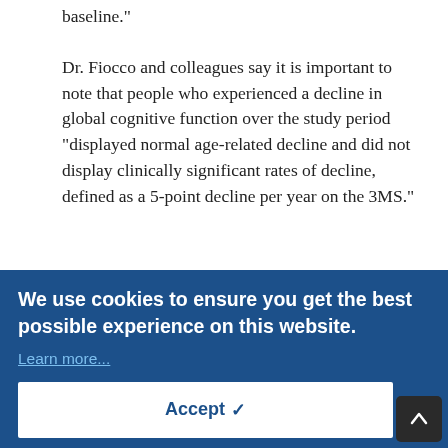baseline."
Dr. Fiocco and colleagues say it is important to note that people who experienced a decline in global cognitive function over the study period "displayed normal age-related decline and did not display clinically significant rates of decline, defined as a 5-point decline per year on the 3MS."
Possible Mechanisms
According to previous research, a potential mechanism underlying the association between [cookie overlay obscures text] levels, [cookie overlay obscures text] lesions, [cookie overlay obscures text] patients, the investigators note. [cookie overlay obscures text] this hypothesis, they [cookie overlay obscures text] the independent effect of sodium intake on cognitive function from hypertension.
We use cookies to ensure you get the best possible experience on this website. Learn more... Accept ✓